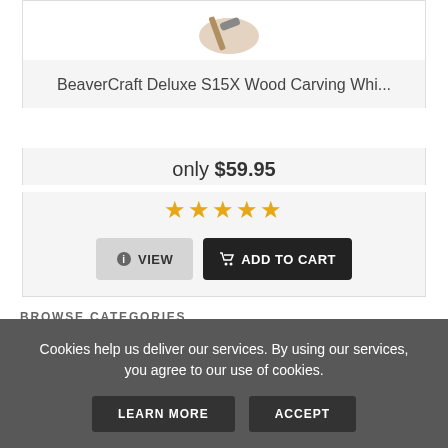[Figure (photo): Product image of BeaverCraft Deluxe S15X Wood Carving Whittling set, partially visible at top]
BeaverCraft Deluxe S15X Wood Carving Whi...
only $59.95
[Figure (other): 5 gold star rating icons]
VIEW
ADD TO CART
BROWSE CATEGORIES
Unfinished Wood (270)
Cookies help us deliver our services. By using our services, you agree to our use of cookies.
LEARN MORE
ACCEPT